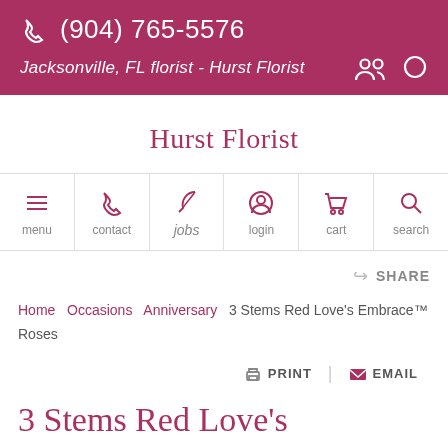(904) 765-5576  Jacksonville, FL florist - Hurst Florist
Hurst Florist
[Figure (screenshot): Navigation bar with icons: menu, contact, jobs, login, cart, search]
SHARE
Home  Occasions  Anniversary  3 Stems Red Love's Embrace™ Roses
PRINT  EMAIL
3 Stems Red Love's